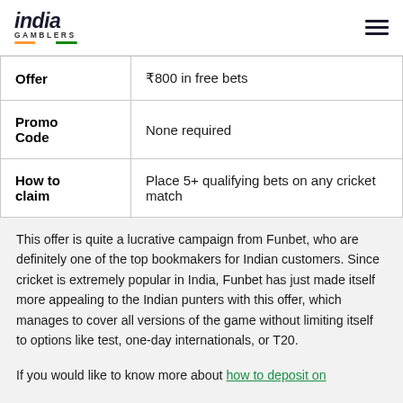india gamblers
| Offer | ₹800 in free bets |
| Promo Code | None required |
| How to claim | Place 5+ qualifying bets on any cricket match |
This offer is quite a lucrative campaign from Funbet, who are definitely one of the top bookmakers for Indian customers. Since cricket is extremely popular in India, Funbet has just made itself more appealing to the Indian punters with this offer, which manages to cover all versions of the game without limiting itself to options like test, one-day internationals, or T20.
If you would like to know more about how to deposit on